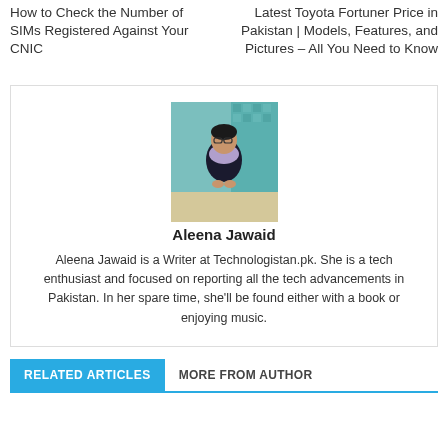How to Check the Number of SIMs Registered Against Your CNIC
Latest Toyota Fortuner Price in Pakistan | Models, Features, and Pictures – All You Need to Know
[Figure (photo): Portrait photo of Aleena Jawaid, a woman wearing glasses and a purple scarf, seated outdoors in front of a tiled wall]
Aleena Jawaid
Aleena Jawaid is a Writer at Technologistan.pk. She is a tech enthusiast and focused on reporting all the tech advancements in Pakistan. In her spare time, she'll be found either with a book or enjoying music.
RELATED ARTICLES
MORE FROM AUTHOR